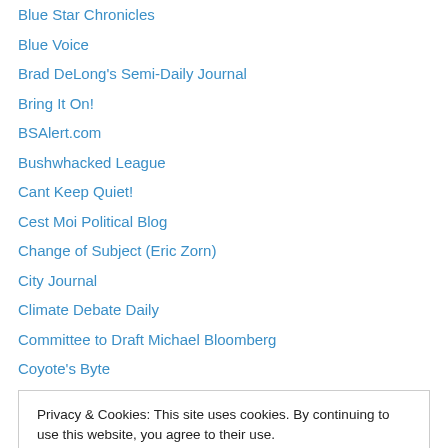Blue Star Chronicles
Blue Voice
Brad DeLong's Semi-Daily Journal
Bring It On!
BSAlert.com
Bushwhacked League
Cant Keep Quiet!
Cest Moi Political Blog
Change of Subject (Eric Zorn)
City Journal
Climate Debate Daily
Committee to Draft Michael Bloomberg
Coyote's Byte
Privacy & Cookies: This site uses cookies. By continuing to use this website, you agree to their use. To find out more, including how to control cookies, see here: Cookie Policy
Early Warning